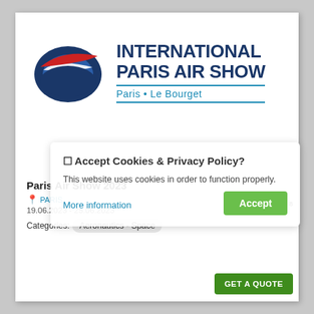[Figure (logo): International Paris Air Show logo with oval emblem containing blue and red swoosh shapes, and text 'INTERNATIONAL PARIS AIR SHOW' and 'Paris • Le Bourget']
Accept Cookies & Privacy Policy?
This website uses cookies in order to function properly.
More information
Accept
Paris Air Show 2023
PARIS
19.06.2023 - 25.06.2023
Categories:
Aeronautics - Space
SELECT FROM 8 HOTELS
GET A QUOTE